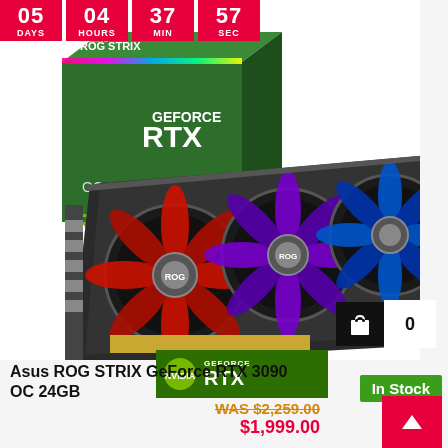[Figure (screenshot): Countdown timer showing 05 DAYS, 04 HOURS, 37 MIN, 57 SEC on red background tiles]
[Figure (photo): ASUS ROG STRIX GeForce RTX 3090 OC 24GB graphics card with triple fans (RGB lit red, purple, blue) and its retail box showing ROG STRIX GAMING and GEFORCE RTX branding]
[Figure (logo): NVIDIA GeForce RTX logo badge in green]
[Figure (infographic): In Stock green badge]
Asus ROG STRIX GeForce RTX 3090 OC 24GB
WAS $2,259.00
$1,999.00